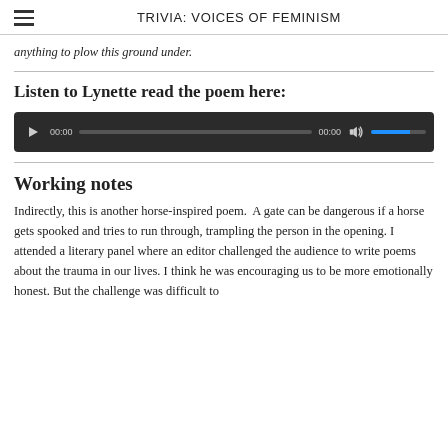TRIVIA: VOICES OF FEMINISM
anything to plow this ground under.
Listen to Lynette read the poem here:
[Figure (other): Audio player widget with play button, time display 00:00, progress bar, duration 00:00, mute button, and volume bar]
Working notes
Indirectly, this is another horse-inspired poem.  A gate can be dangerous if a horse gets spooked and tries to run through, trampling the person in the opening. I attended a literary panel where an editor challenged the audience to write poems about the trauma in our lives. I think he was encouraging us to be more emotionally honest. But the challenge was difficult to